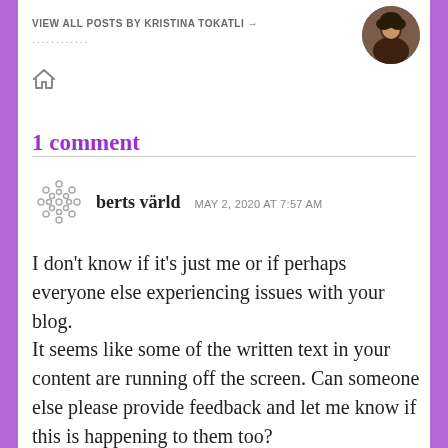VIEW ALL POSTS BY KRISTINA TOKATLI →
...........
[Figure (photo): Circular avatar photo of Kristina Tokatli]
[Figure (illustration): Home/house icon]
1 comment
[Figure (illustration): Commenter avatar icon for berts värld — decorative dot/circle pattern]
berts värld  MAY 2, 2020 AT 7:57 AM
I don't know if it's just me or if perhaps everyone else experiencing issues with your blog. It seems like some of the written text in your content are running off the screen. Can someone else please provide feedback and let me know if this is happening to them too? This might have something with